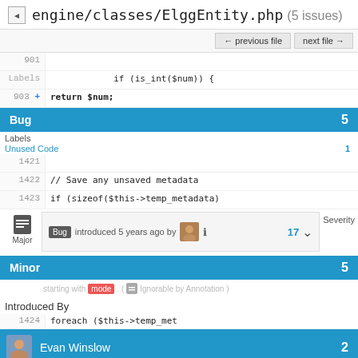engine/classes/ElggEntity.php (5 issues)
← previous file   next file →
901
902  if (is_int($num)) {
903 +   return $num;
Bug   5
Labels   1
1421
1422    // Save any unsaved metadata
1423   if (sizeof($this->temp_metadata)
Severity
Major   Bug introduced 5 years ago by   17
Minor   5
starting with  mode . (  Ignorable by Annotation )
Introduced By
1424   foreach ($this->temp_met
Evan Winslow   2
1425   // temp
Brett Profitt   1